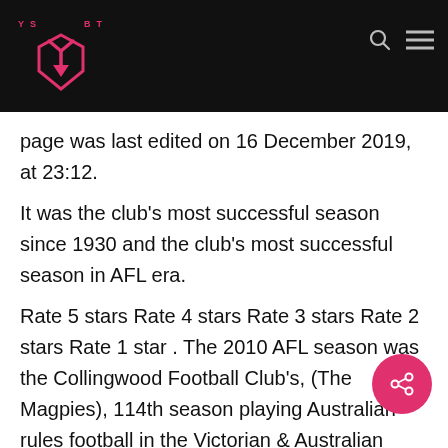YSBT
page was last edited on 16 December 2019, at 23:12.
It was the club's most successful season since 1930 and the club's most successful season in AFL era.
Rate 5 stars Rate 4 stars Rate 3 stars Rate 2 stars Rate 1 star . The 2010 AFL season was the Collingwood Football Club's, (The Magpies), 114th season playing Australian rules football in the Victorian & Australian Football League. Hear from the